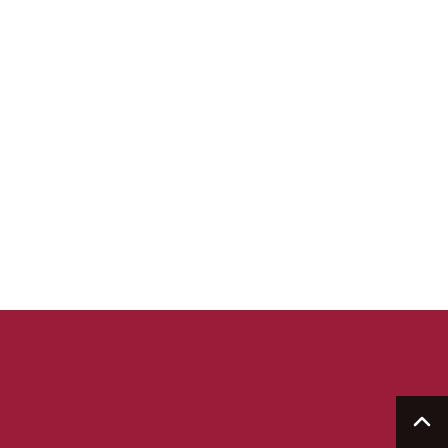Contact Information
Contact Information